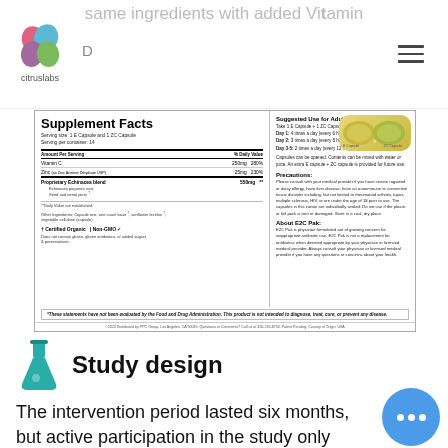same ingredients with added Vitamin
[Figure (other): Citruslabs logo with colorful leaf icon and text 'citruslabs']
[Figure (photo): Supplement Facts panel for E2C Pak showing Vitamin C 250mg 280%, Zinc 25mg 230%, Proprietary Echinacea blend 550mg, with suggested use, precautions, and FDA disclaimer]
Study design
The intervention period lasted six months, but active participation in the study only began whenever the participant reported a URI, such as the